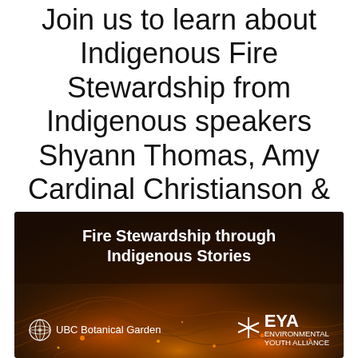Join us to learn about Indigenous Fire Stewardship from Indigenous speakers Shyann Thomas, Amy Cardinal Christianson & Brad Marsden.
[Figure (illustration): Promotional event image with a dark fire/ember background. White bold text reads 'Fire Stewardship through Indigenous Stories'. Bottom left shows the UBC Botanical Garden logo (globe icon with text). Bottom right shows the EYA (Environmental Youth Alliance) logo (asterisk/star icon with text).]